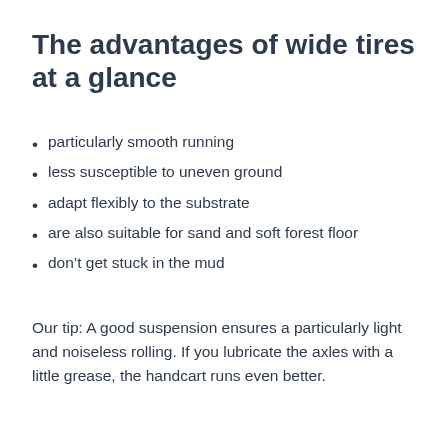The advantages of wide tires at a glance
particularly smooth running
less susceptible to uneven ground
adapt flexibly to the substrate
are also suitable for sand and soft forest floor
don’t get stuck in the mud
Our tip: A good suspension ensures a particularly light and noiseless rolling. If you lubricate the axles with a little grease, the handcart runs even better.